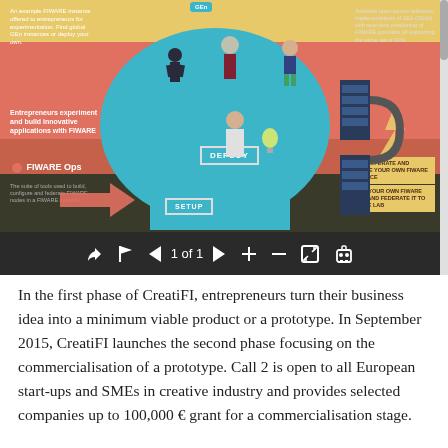[Figure (infographic): A FIWARE infographic screenshot showing entrepreneurs experimenting and building innovative applications with FIWARE. Features a teal circular diagram with illustrated figures, FIWARE Ops section, DEPLOY and SETUP buttons, arrows, and text boxes about building and operating FIWARE instances. Below the infographic is a media player toolbar showing '1 of 1' navigation controls on a dark background.]
In the first phase of CreatiFI, entrepreneurs turn their business idea into a minimum viable product or a prototype. In September 2015, CreatiFI launches the second phase focusing on the commercialisation of a prototype. Call 2 is open to all European start-ups and SMEs in creative industry and provides selected companies up to 100,000 € grant for a commercialisation stage.
CreatiFI is an acceleration initiative inside the FIWARE EU